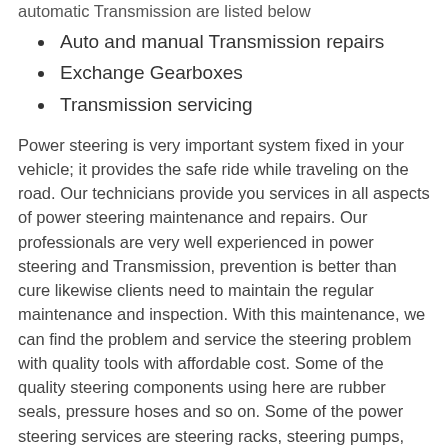automatic Transmission are listed below
Auto and manual Transmission repairs
Exchange Gearboxes
Transmission servicing
Power steering is very important system fixed in your vehicle; it provides the safe ride while traveling on the road. Our technicians provide you services in all aspects of power steering maintenance and repairs. Our professionals are very well experienced in power steering and Transmission, prevention is better than cure likewise clients need to maintain the regular maintenance and inspection. With this maintenance, we can find the problem and service the steering problem with quality tools with affordable cost. Some of the quality steering components using here are rubber seals, pressure hoses and so on. Some of the power steering services are steering racks, steering pumps, Flow